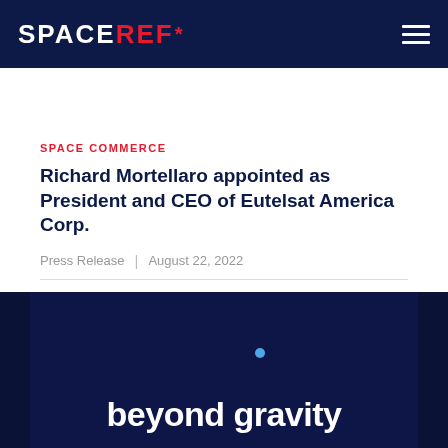SPACEREF*
SPACE COMMERCE
Richard Mortellaro appointed as President and CEO of Eutelsat America Corp.
Press Release | August 22, 2022
[Figure (photo): Dark background with 'beyond gravity' text in white and a small blue dot above it — Eutelsat brand image]